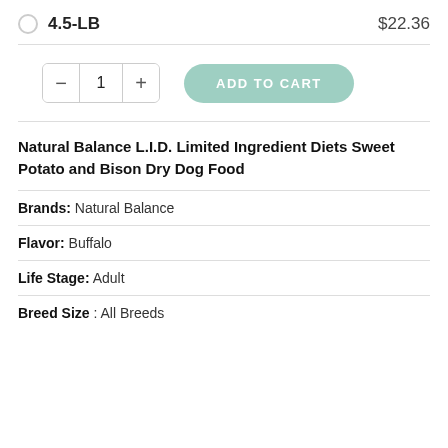4.5-LB   $22.36
[Figure (other): Quantity selector with minus, 1, plus buttons and Add to Cart button]
Natural Balance L.I.D. Limited Ingredient Diets Sweet Potato and Bison Dry Dog Food
Brands: Natural Balance
Flavor: Buffalo
Life Stage: Adult
Breed Size : All Breeds